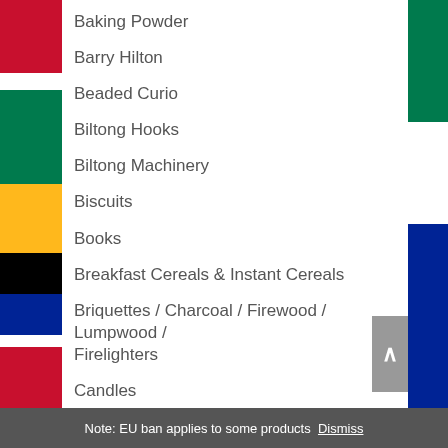Baking Powder
Barry Hilton
Beaded Curio
Biltong Hooks
Biltong Machinery
Biscuits
Books
Breakfast Cereals & Instant Cereals
Briquettes / Charcoal / Firewood / Lumpwood / Firelighters
Candles
Canned Fruit
Canned Vegetables
Carbonated Drinks
Note: EU ban applies to some products Dismiss